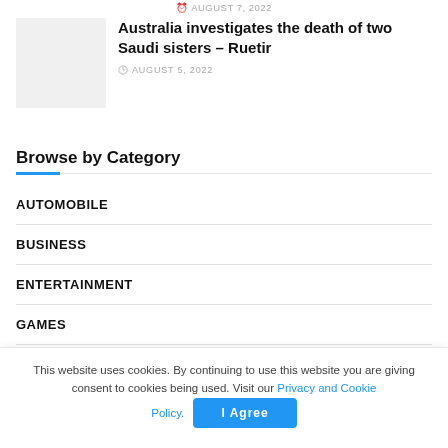AUGUST 7, 2022
Australia investigates the death of two Saudi sisters – Ruetir
AUGUST 5, 2022
Browse by Category
AUTOMOBILE
BUSINESS
ENTERTAINMENT
GAMES
This website uses cookies. By continuing to use this website you are giving consent to cookies being used. Visit our Privacy and Cookie Policy.